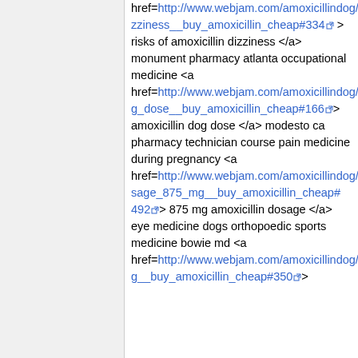href=http://www.webjam.com/amoxicillindog/$my_blog/2013/03/18/amoxicillin_dizziness__buy_amoxicillin_cheap#334 > risks of amoxicillin dizziness </a> monument pharmacy atlanta occupational medicine <a href=http://www.webjam.com/amoxicillindog/$my_blog/2013/03/18/amoxicillin_dog_dose__buy_amoxicillin_cheap#166 > amoxicillin dog dose </a> modesto ca pharmacy technician course pain medicine during pregnancy <a href=http://www.webjam.com/amoxicillindog/$my_blog/2013/03/18/amoxicillin_dosage_875_mg__buy_amoxicillin_cheap#492 > 875 mg amoxicillin dosage </a> eye medicine dogs orthopoedic sports medicine bowie md <a href=http://www.webjam.com/amoxicillindog/$my_blog/2013/03/18/amoxicillin_do_g__buy_amoxicillin_cheap#350 >